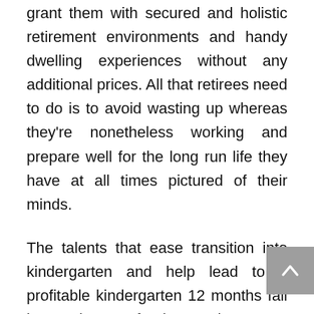grant them with secured and holistic retirement environments and handy dwelling experiences without any additional prices. All that retirees need to do is to avoid wasting up whereas they're nonetheless working and prepare well for the long run life they have at all times pictured of their minds.
The talents that ease transition into kindergarten and help lead to a profitable kindergarten 12 months fall into these fundamental areas: cognitive skills, listening and sequencing, language expertise, fine motor expertise, social emotional skills, and gross motor skills.